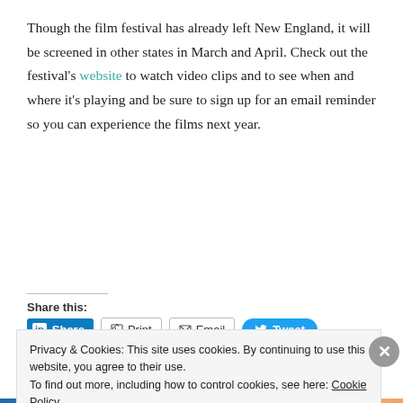Though the film festival has already left New England, it will be screened in other states in March and April. Check out the festival's website to watch video clips and to see when and where it's playing and be sure to sign up for an email reminder so you can experience the films next year.
Share this:
Share | Print | Email | Tweet
Like
Privacy & Cookies: This site uses cookies. By continuing to use this website, you agree to their use.
To find out more, including how to control cookies, see here: Cookie Policy
Close and accept